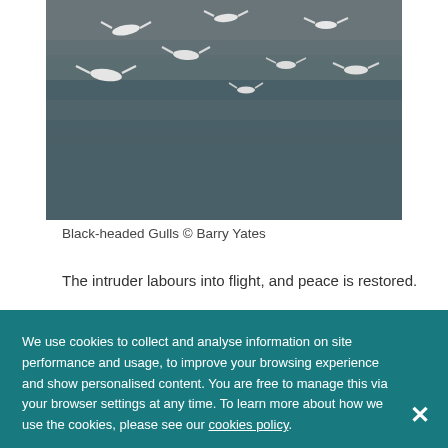[Figure (photo): Flock of Black-headed Gulls flying over water surface]
Black-headed Gulls © Barry Yates
The intruder labours into flight, and peace is restored.
We use cookies to collect and analyse information on site performance and usage, to improve your browsing experience and show personalised content. You are free to manage this via your browser settings at any time. To learn more about how we use the cookies, please see our cookies policy.